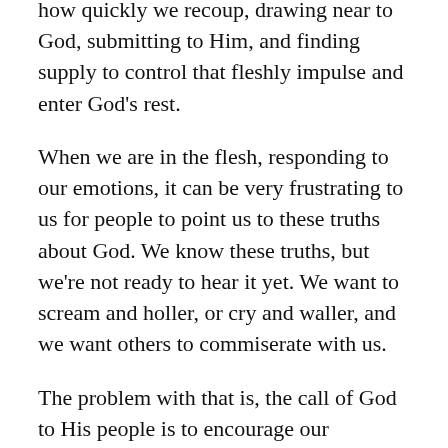how quickly we recoup, drawing near to God, submitting to Him, and finding supply to control that fleshly impulse and enter God's rest.
When we are in the flesh, responding to our emotions, it can be very frustrating to us for people to point us to these truths about God. We know these truths, but we're not ready to hear it yet. We want to scream and holler, or cry and waller, and we want others to commiserate with us.
The problem with that is, the call of God to His people is to encourage our righteousness, turn us from the dictates of flesh to the Spirit, and help us turn our thoughts toward the higher things of God and His ways. Those of us who believe the quicker we turn to God's way of thinking, sometimes move too quick with encouragement to come up higher. In our desire for the person's Power for the